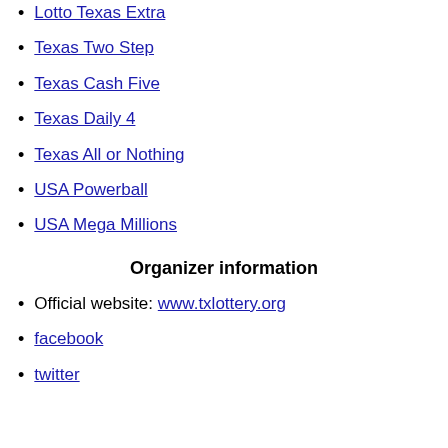Lotto Texas Extra
Texas Two Step
Texas Cash Five
Texas Daily 4
Texas All or Nothing
USA Powerball
USA Mega Millions
Organizer information
Official website: www.txlottery.org
facebook
twitter